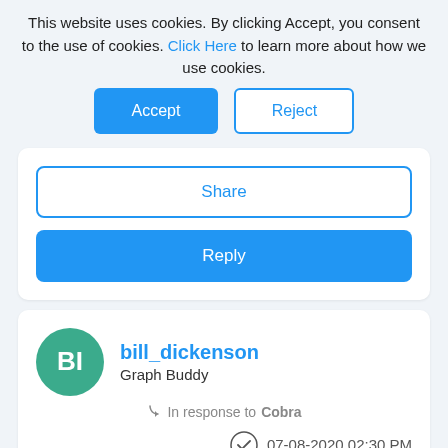This website uses cookies. By clicking Accept, you consent to the use of cookies. Click Here to learn more about how we use cookies.
Share
Reply
bill_dickenson
Graph Buddy
In response to Cobra
07-08-2020 02:30 PM